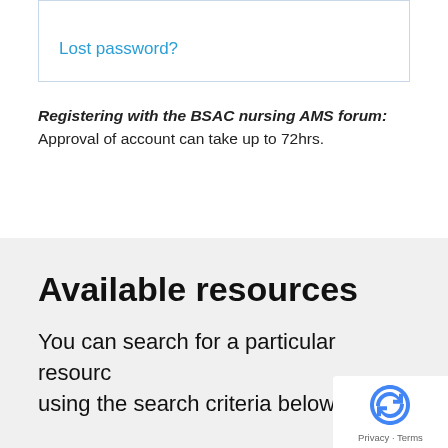Lost password?
Registering with the BSAC nursing AMS forum: Approval of account can take up to 72hrs.
Available resources
You can search for a particular resource using the search criteria below or click